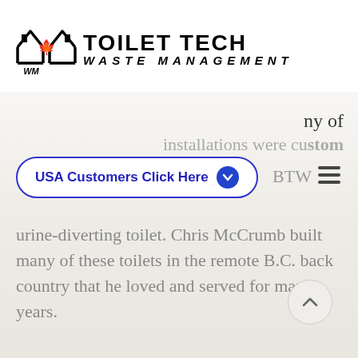[Figure (logo): Toilet Tech Waste Management logo with house/maple leaf icon and company name]
ny of
installations were custom
USA Customers Click Here
BTW
urine-diverting toilet. Chris McCrumb built many of these toilets in the remote B.C. back country that he loved and served for many years.